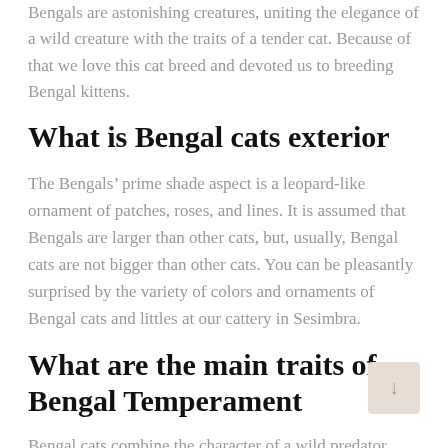Bengals are astonishing creatures, uniting the elegance of a wild creature with the traits of a tender cat. Because of that we love this cat breed and devoted us to breeding Bengal kittens.
What is Bengal cats exterior
The Bengals’ prime shade aspect is a leopard-like ornament of patches, roses, and lines. It is assumed that Bengals are larger than other cats, but, usually, Bengal cats are not bigger than other cats. You can be pleasantly surprised by the variety of colors and ornaments of Bengal cats and littles at our cattery in Sesimbra.
What are the main traits of Bengal Temperament
Bengal cats combine the character of a wild predator